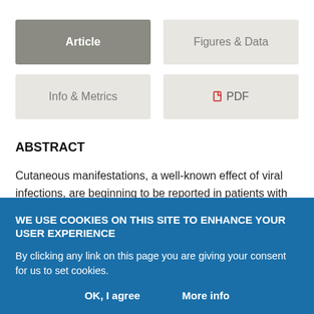Article
Figures & Data
Info & Metrics
PDF
ABSTRACT
Cutaneous manifestations, a well-known effect of viral infections, are beginning to be reported in patients with COVID-19 disease. These manifestations most often are morbilliform rash, urticaria, vesicular eruptions, acral lesions, and livedoid eruptions. Some of these
WE USE COOKIES ON THIS SITE TO ENHANCE YOUR USER EXPERIENCE
By clicking any link on this page you are giving your consent for us to set cookies.
OK, I agree   More info